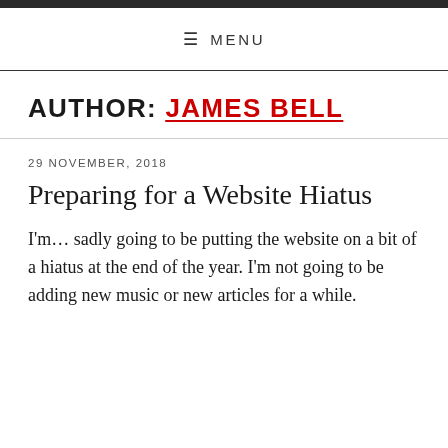≡ MENU
AUTHOR: JAMES BELL
29 NOVEMBER, 2018
Preparing for a Website Hiatus
I'm… sadly going to be putting the website on a bit of a hiatus at the end of the year. I'm not going to be adding new music or new articles for a while.